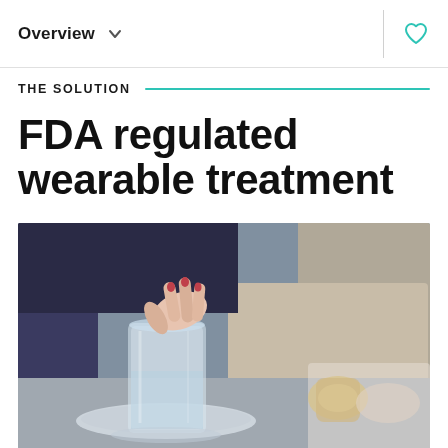Overview
THE SOLUTION
FDA regulated wearable treatment
[Figure (photo): A person's hand dipping fingers into a glass of water placed on a saucer on a table, with a blurred background showing furniture and another person.]